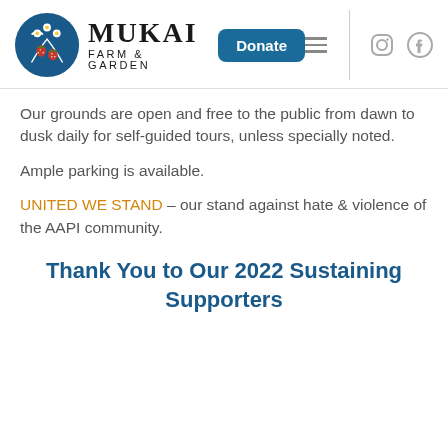[Figure (logo): Mukai Farm & Garden logo with circular blue badge containing cherry blossoms and strawberries, text 'MUKAI Farm & Garden', and a teal Donate button]
Our grounds are open and free to the public from dawn to dusk daily for self-guided tours, unless specially noted.
Ample parking is available.
UNITED WE STAND – our stand against hate & violence of the AAPI community.
Thank You to Our 2022 Sustaining Supporters